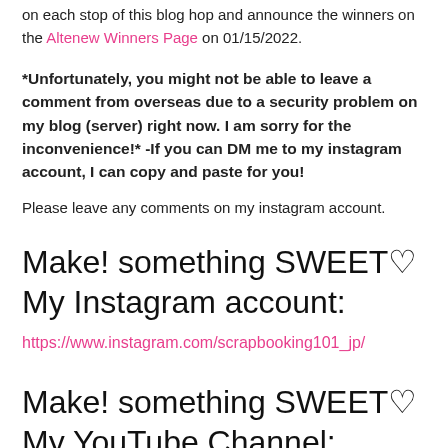on each stop of this blog hop and announce the winners on the Altenew Winners Page on 01/15/2022.
*Unfortunately, you might not be able to leave a comment from overseas due to a security problem on my blog (server) right now. I am sorry for the inconvenience!* -If you can DM me to my instagram account, I can copy and paste for you!
Please leave any comments on my instagram account.
Make! something SWEET♡ My Instagram account:
https://www.instagram.com/scrapbooking101_jp/
Make! something SWEET♡ My YouTube Channel: